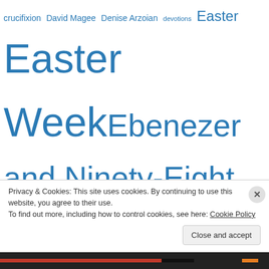[Figure (infographic): Tag cloud with various blog topics in different font sizes, all in blue color. Tags include: crucifixion, David Magee, Denise Arzoian, devotions, Easter, Easter Week, Ebenezer and Ninety-Eight, Friends, fairy tales, family, forgiveness, Fresno, friends, goats, God, God bless America, grandchildren, healing, Health, heaven, Hebrews 9:12, hymns, I John 1:9, Israel, Jeremiah 29:11, Jesus, John 15, joy, kids, laughter, Leviticus, love, mental health, Mill City, missionaries, Mother's Day, new blog, New]
Privacy & Cookies: This site uses cookies. By continuing to use this website, you agree to their use.
To find out more, including how to control cookies, see here: Cookie Policy
Close and accept